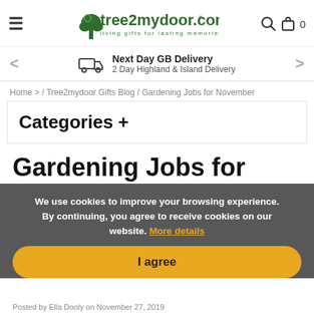tree2mydoor.com — living gifts for lasting memories
Next Day GB Delivery
2 Day Highland & Island Delivery
Home > / Tree2mydoor Gifts Blog / Gardening Jobs for November
Categories +
We use cookies to improve your browsing experience. By continuing, you agree to receive cookies on our website. More details
I agree
Gardening Jobs for
Posted by Ella Dooly on November 27, 2019